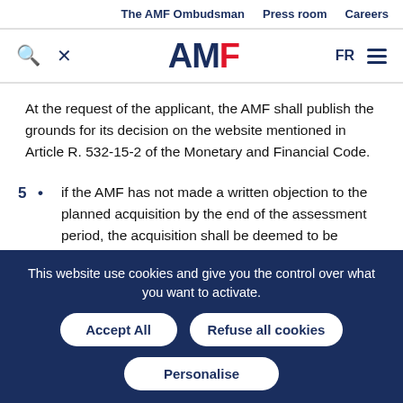The AMF Ombudsman   Press room   Careers
[Figure (logo): AMF logo with search and close icons, FR language selector and hamburger menu]
At the request of the applicant, the AMF shall publish the grounds for its decision on the website mentioned in Article R. 532-15-2 of the Monetary and Financial Code.
5 • if the AMF has not made a written objection to the planned acquisition by the end of the assessment period, the acquisition shall be deemed to be
This website use cookies and give you the control over what you want to activate.